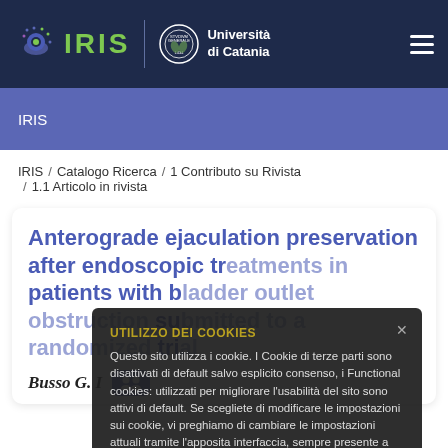IRIS | Università di Catania
IRIS
IRIS / Catalogo Ricerca / 1 Contributo su Rivista / 1.1 Articolo in rivista
Anterograde ejaculation preservation after endoscopic treatments in patients with bladder outlet obstruction submitted to a randomized trial
UTILIZZO DEI COOKIES
Questo sito utilizza i cookie. I Cookie di terze parti sono disattivati di default salvo esplicito consenso, i Functional cookies: utilizzati per migliorare l'usabilità del sito sono attivi di default. Se scegliete di modificare le impostazioni sui cookie, vi preghiamo di cambiare le impostazioni attuali tramite l'apposita interfaccia, sempre presente a piè di pagina: Utilizzo dei cookie.
Busso G. I